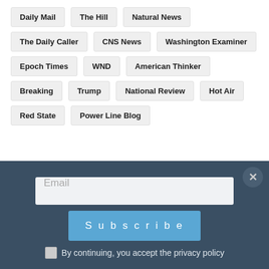Daily Mail
The Hill
Natural News
The Daily Caller
CNS News
Washington Examiner
Epoch Times
WND
American Thinker
Breaking
Trump
National Review
Hot Air
Red State
Power Line Blog
Obama Using ISIS to Fundamentally Transform America
Email
Subscribe
By continuing, you accept the privacy policy